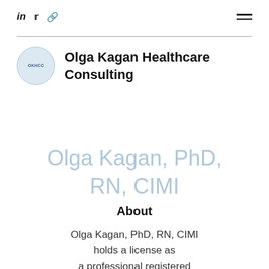in  🐦  🔗  ☰
[Figure (logo): OKHCC circular logo in light blue, with small text OKHCC in center]
Olga Kagan Healthcare Consulting
Olga Kagan, PhD, RN, CIMI
About
Olga Kagan, PhD, RN, CIMI holds a license as a professional registered